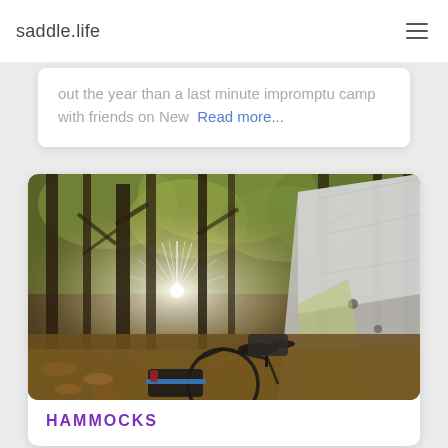saddle.life
out the year than a last minute impromptu camp with friends on New Read more...
[Figure (photo): A bicycle leaning against a tree in an autumn forest with a bright sun star burst through the trees and a grey/silver tarp tent visible on the right side of the frame. Fallen leaves cover the ground. The bike has handlebar bags and panniers.]
HAMMOCKS